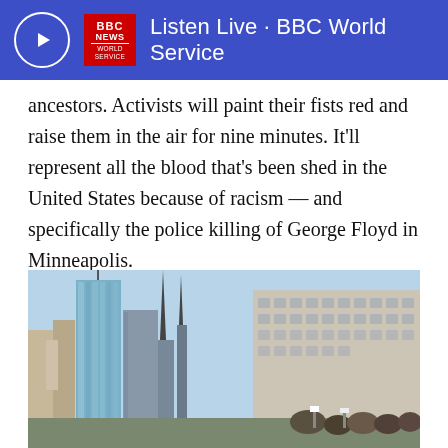Listen Live • BBC World Service
ancestors. Activists will paint their fists red and raise them in the air for nine minutes. It'll represent all the blood that's been shed in the United States because of racism — and specifically the police killing of George Floyd in Minneapolis.
After that, they'll march to the MSB to join forces with the protest in support of Abu-Jamal.
[Figure (photo): City skyline photo showing tall modern glass skyscrapers and older concrete buildings under a blue sky, with a crowd of protesters visible at the bottom right.]